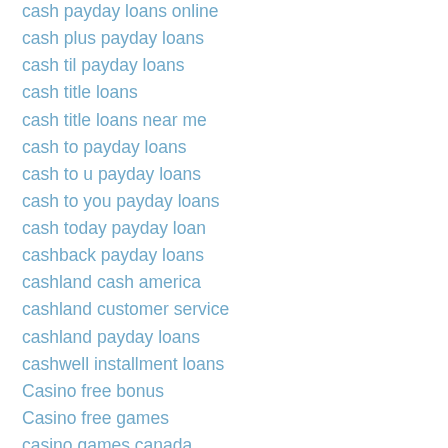cash payday loans online
cash plus payday loans
cash til payday loans
cash title loans
cash title loans near me
cash to payday loans
cash to u payday loans
cash to you payday loans
cash today payday loan
cashback payday loans
cashland cash america
cashland customer service
cashland payday loans
cashwell installment loans
Casino free bonus
Casino free games
casino games canada